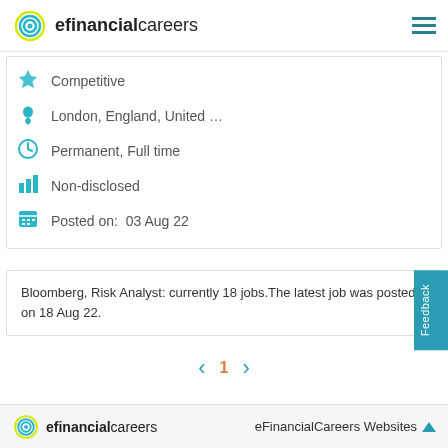efinancialcareers
Competitive
London, England, United ...
Permanent, Full time
Non-disclosed
Posted on:  03 Aug 22
Bloomberg, Risk Analyst: currently 18 jobs.The latest job was posted on 18 Aug 22.
efinancialcareers  eFinancialCareers Websites